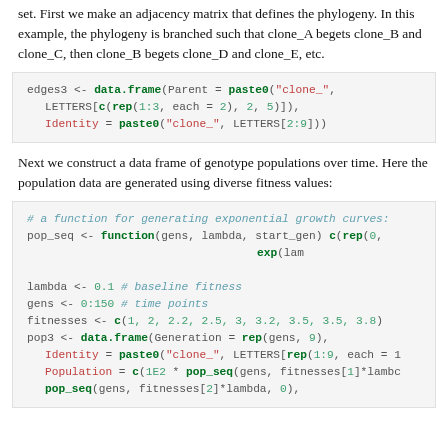set. First we make an adjacency matrix that defines the phylogeny. In this example, the phylogeny is branched such that clone_A begets clone_B and clone_C, then clone_B begets clone_D and clone_E, etc.
edges3 <- data.frame(Parent = paste0("clone_", LETTERS[c(rep(1:3, each = 2), 2, 5)]), Identity = paste0("clone_", LETTERS[2:9]))
Next we construct a data frame of genotype populations over time. Here the population data are generated using diverse fitness values:
# a function for generating exponential growth curves:
pop_seq <- function(gens, lambda, start_gen) c(rep(0,
                                                  exp(lam
lambda <- 0.1 # baseline fitness
gens <- 0:150 # time points
fitnesses <- c(1, 2, 2.2, 2.5, 3, 3.2, 3.5, 3.5, 3.8)
pop3 <- data.frame(Generation = rep(gens, 9),
  Identity = paste0("clone_", LETTERS[rep(1:9, each = 1
  Population = c(1E2 * pop_seq(gens, fitnesses[1]*lambc
  pop_seq(gens, fitnesses[2]*lambda, 0),